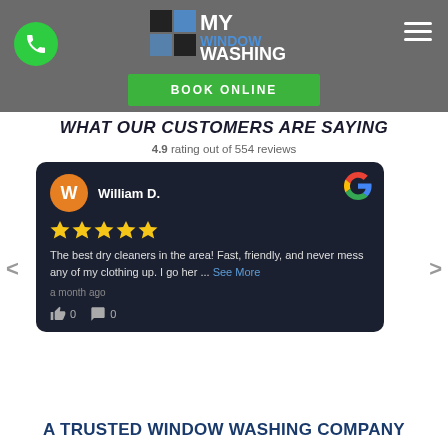MY WINDOW WASHING | BOOK ONLINE
WHAT OUR CUSTOMERS ARE SAYING
4.9 rating out of 554 reviews
William D. — The best dry cleaners in the area! Fast, friendly, and never mess any of my clothing up. I go her ... See More — a month ago — 0 likes 0 comments
A TRUSTED WINDOW WASHING COMPANY